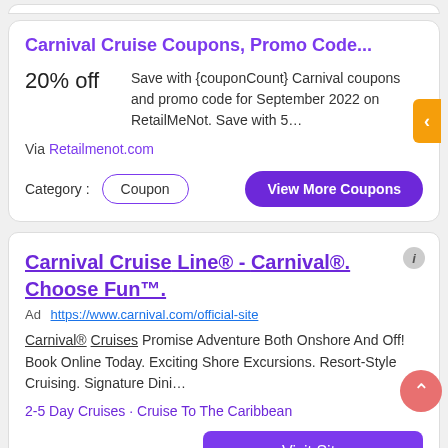Carnival Cruise Coupons, Promo Code...
20% off
Save with {couponCount} Carnival coupons and promo code for September 2022 on RetailMeNot. Save with 5…
Via Retailmenot.com
Category : Coupon  View More Coupons
Carnival Cruise Line® - Carnival®. Choose Fun™.
Ad  https://www.carnival.com/official-site
Carnival® Cruises Promise Adventure Both Onshore And Off! Book Online Today. Exciting Shore Excursions. Resort-Style Cruising. Signature Dini…
2-5 Day Cruises · Cruise To The Caribbean
Visit Site